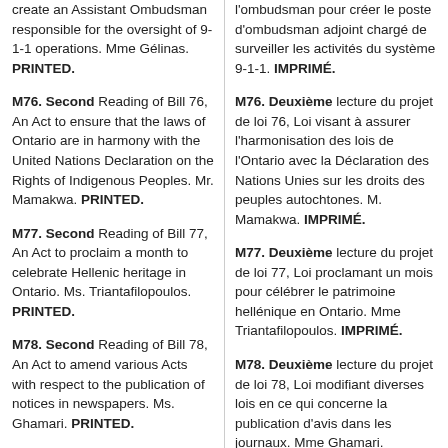create an Assistant Ombudsman responsible for the oversight of 9-1-1 operations. Mme Gélinas. PRINTED.
l'ombudsman pour créer le poste d'ombudsman adjoint chargé de surveiller les activités du système 9-1-1. IMPRIMÉ.
M76. Second Reading of Bill 76, An Act to ensure that the laws of Ontario are in harmony with the United Nations Declaration on the Rights of Indigenous Peoples. Mr. Mamakwa. PRINTED.
M76. Deuxième lecture du projet de loi 76, Loi visant à assurer l'harmonisation des lois de l'Ontario avec la Déclaration des Nations Unies sur les droits des peuples autochtones. M. Mamakwa. IMPRIMÉ.
M77. Second Reading of Bill 77, An Act to proclaim a month to celebrate Hellenic heritage in Ontario. Ms. Triantafilopoulos. PRINTED.
M77. Deuxième lecture du projet de loi 77, Loi proclamant un mois pour célébrer le patrimoine hellénique en Ontario. Mme Triantafilopoulos. IMPRIMÉ.
M78. Second Reading of Bill 78, An Act to amend various Acts with respect to the publication of notices in newspapers. Ms. Ghamari. PRINTED.
M78. Deuxième lecture du projet de loi 78, Loi modifiant diverses lois en ce qui concerne la publication d'avis dans les journaux. Mme Ghamari. IMPRIMÉ.
M79. Second Reading of Bill 79, An Act to amend the Algoma University Act, 2008.
M79. Deuxième lecture du projet de loi 79, Loi modifiant la Loi de 2008 sur l'Université Algoma.